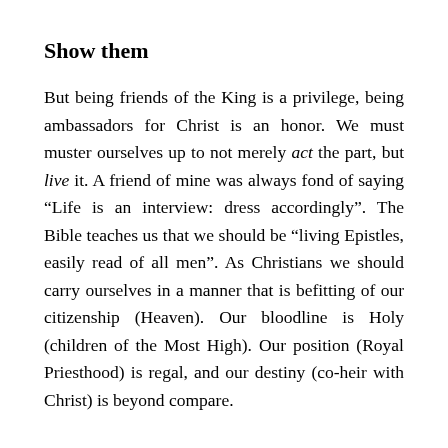Show them
But being friends of the King is a privilege, being ambassadors for Christ is an honor. We must muster ourselves up to not merely act the part, but live it. A friend of mine was always fond of saying “Life is an interview: dress accordingly”. The Bible teaches us that we should be “living Epistles, easily read of all men”. As Christians we should carry ourselves in a manner that is befitting of our citizenship (Heaven). Our bloodline is Holy (children of the Most High). Our position (Royal Priesthood) is regal, and our destiny (co-heir with Christ) is beyond compare.